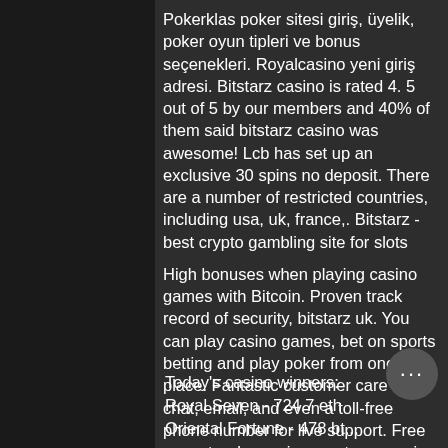Pokerklas poker sitesi giriş, üyelik, poker oyun tipleri ve bonus seçenekleri. Royalcasino yeni giriş adresi. Bitstarz casino is rated 4. 5 out of 5 by our members and 40% of them said bitstarz casino was awesome! Lcb has set up an exclusive 30 spins no deposit. There are a number of restricted countries, including usa, uk, france,. Bitstarz - best crypto gambling site for slots
High bonuses when playing casino games with Bitcoin. Proven track record of security, bitstarz uk. You can play casino games, bet on sports betting and play poker from one place. Fantastic customer care with chat, email, and even a toll-free phone number for live support. Free payouts when using cryptocurrencies to withdraw.
Today's casino winners:
Royal Seven - 724.7 eth
Oriental Fortune - 478 bt...